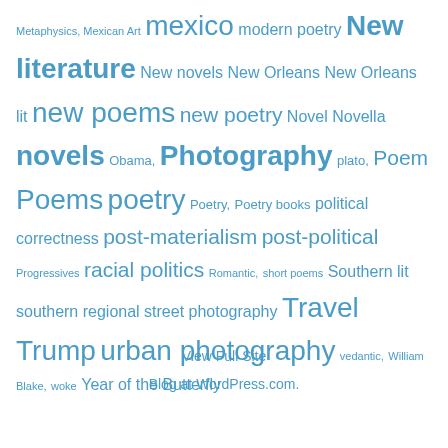Metaphysics, Mexican Art mexico modern poetry New literature New novels New Orleans New Orleans lit new poems new poetry Novel Novella novels Obama, Photography plato, Poem Poems poetry Poetry, Poetry books political correctness post-materialism post-political Progressives racial politics Romantic, short poems Southern lit southern regional street photography Travel Trump urban photography vedantic, William Blake, woke Year of the Butterfly
View Full Site
Blog at WordPress.com.